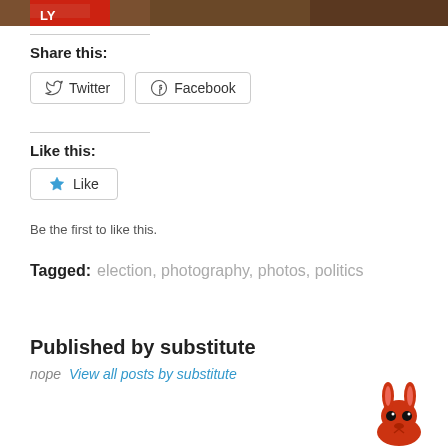[Figure (photo): Partial photo strip at top of page showing a person in checkered clothing with a red banner element on the left side]
Share this:
Twitter  Facebook
Like this:
Like
Be the first to like this.
Tagged:   election,  photography,  photos,  politics
Published by substitute
nope  View all posts by substitute
[Figure (illustration): Red cartoon bunny/rabbit avatar in lower right corner]